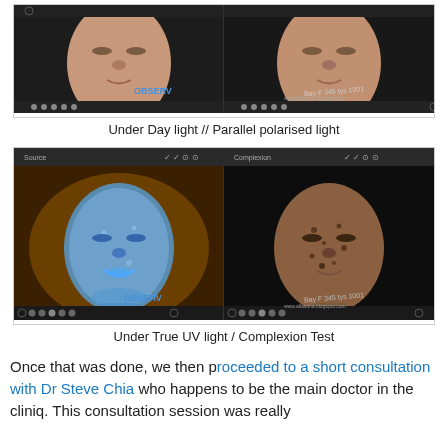[Figure (photo): Two side-by-side facial photos under Day light and Parallel polarised light using OBSERV skin analysis device]
Under Day light // Parallel polarised light
[Figure (photo): Two side-by-side facial photos under True UV light and Complexion Test using OBSERV skin analysis device]
Under True UV light / Complexion Test
Once that was done, we then proceeded to a short consultation with Dr Steve Chia who happens to be the main doctor in the cliniq. This consultation session was really